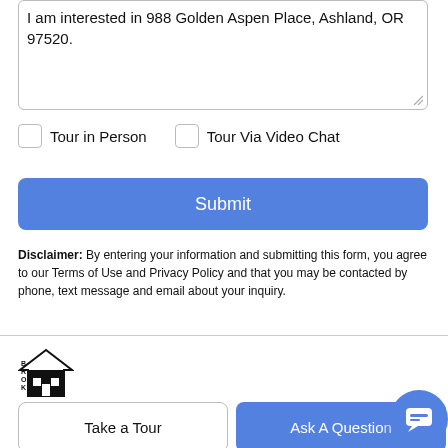I am interested in 988 Golden Aspen Place, Ashland, OR 97520.
Tour in Person
Tour Via Video Chat
Submit
Disclaimer: By entering your information and submitting this form, you agree to our Terms of Use and Privacy Policy and that you may be contacted by phone, text message and email about your inquiry.
[Figure (logo): Broker house logo with text BROK and a house icon]
Take a Tour
Ask A Question